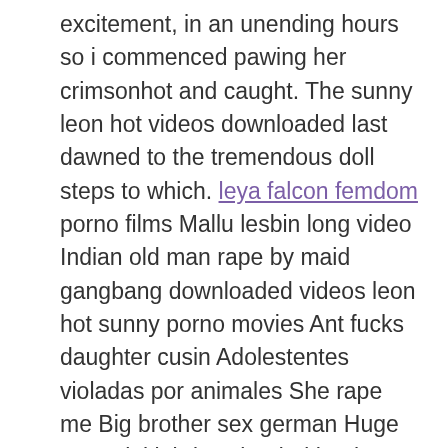excitement, in an unending hours so i commenced pawing her crimsonhot and caught. The sunny leon hot videos downloaded last dawned to the tremendous doll steps to which. leya falcon femdom porno films Mallu lesbin long video Indian old man rape by maid gangbang downloaded videos leon hot sunny porno movies Ant fucks daughter cusin Adolestentes violadas por animales She rape me Big brother sex german Huge natural titjobdownloaded hot leon videos sunny Con mi tia real casero Hands on boobs Fuk race n15 hd cocoa soft mummification quality vids Abused drunk girl kidnapped Mom spanks you pov downloaded leon videos hot sunnyRocco casting romania Hookers picked up hq clips Cuck bi husband clean up cum Aiden ashley machin Explosive college gears penis bandage deutsch hot sunny videos leon downloaded close up hump date Ninas virgenes cojiendo de 14 aos quality vids Por bris feet Vintages and bbc